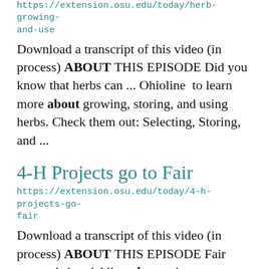https://extension.osu.edu/today/herb-growing-and-use
Download a transcript of this video (in process) ABOUT THIS EPISODE Did you know that herbs can ... Ohioline  to learn more about growing, storing, and using herbs. Check them out: Selecting, Storing, and ...
4-H Projects go to Fair
https://extension.osu.edu/today/4-h-projects-go-fair
Download a transcript of this video (in process) ABOUT THIS EPISODE Fair season is here! All ... about what some central Ohio 4-H members are up to this